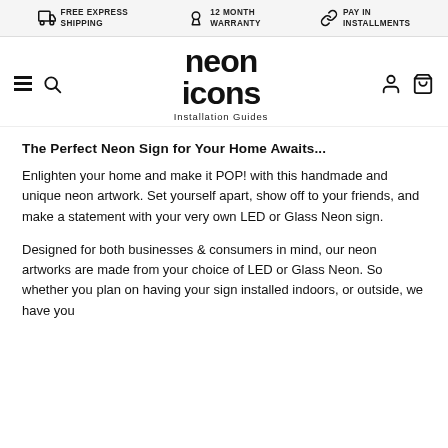FREE EXPRESS SHIPPING | 12 MONTH WARRANTY | PAY IN INSTALLMENTS
[Figure (logo): Neon Icons logo with hamburger menu, search, user, and cart icons. Logo text reads 'neon icons' with tagline 'Installation Guides']
The Perfect Neon Sign for Your Home Awaits...
Enlighten your home and make it POP! with this handmade and unique neon artwork. Set yourself apart, show off to your friends, and make a statement with your very own LED or Glass Neon sign.
Designed for both businesses & consumers in mind, our neon artworks are made from your choice of LED or Glass Neon. So whether you plan on having your sign installed indoors, or outside, we have you...